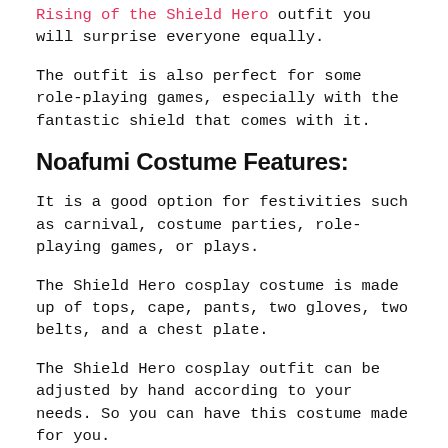Rising of the Shield Hero outfit you will surprise everyone equally.
The outfit is also perfect for some role-playing games, especially with the fantastic shield that comes with it.
Noafumi Costume Features:
It is a good option for festivities such as carnival, costume parties, role-playing games, or plays.
The Shield Hero cosplay costume is made up of tops, cape, pants, two gloves, two belts, and a chest plate.
The Shield Hero cosplay outfit can be adjusted by hand according to your needs. So you can have this costume made for you.
Being an outfit that can work for any type of